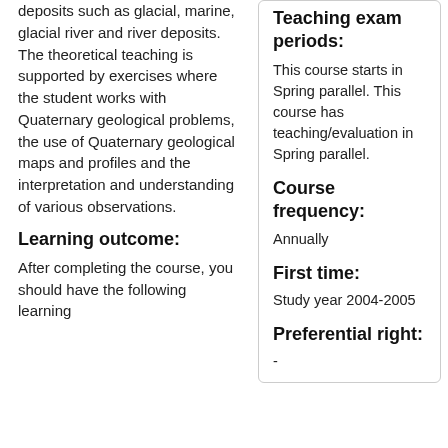deposits such as glacial, marine, glacial river and river deposits. The theoretical teaching is supported by exercises where the student works with Quaternary geological problems, the use of Quaternary geological maps and profiles and the interpretation and understanding of various observations.
Learning outcome:
After completing the course, you should have the following learning
Teaching exam periods:
This course starts in Spring parallel. This course has teaching/evaluation in Spring parallel.
Course frequency:
Annually
First time:
Study year 2004-2005
Preferential right:
-